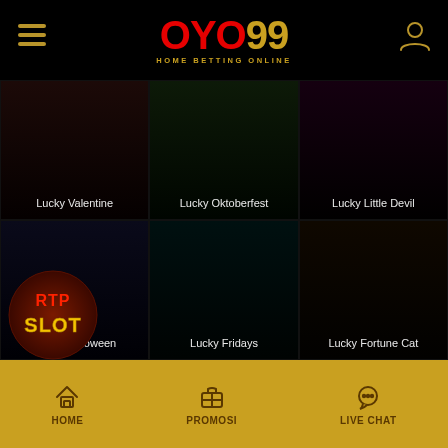OYO99 HOME BETTING ONLINE
[Figure (screenshot): Game grid showing Lucky Valentine, Lucky Oktoberfest, Lucky Little Devil, Lucky Halloween, Lucky Fridays, Lucky Fortune Cat slot game thumbnails on black background]
[Figure (logo): RTP SLOT circular badge logo in red and yellow]
HOME | PROMOSI | LIVE CHAT